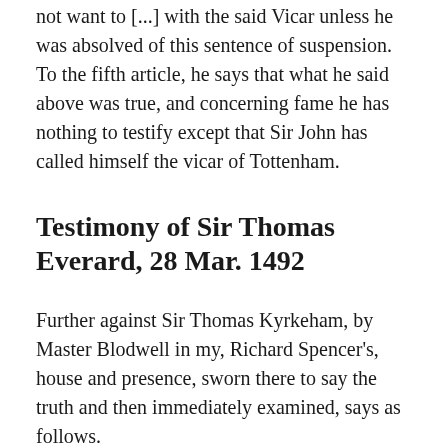not want to [...] with the said Vicar unless he was absolved of this sentence of suspension. To the fifth article, he says that what he said above was true, and concerning fame he has nothing to testify except that Sir John has called himself the vicar of Tottenham.
Testimony of Sir Thomas Everard, 28 Mar. 1492
Further against Sir Thomas Kyrkeham, by Master Blodwell in my, Richard Spencer's, house and presence, sworn there to say the truth and then immediately examined, says as follows.
Sir Thomas Everard, parish chaplain of Isleworth,[8] where he has lived for a year and a half, of free